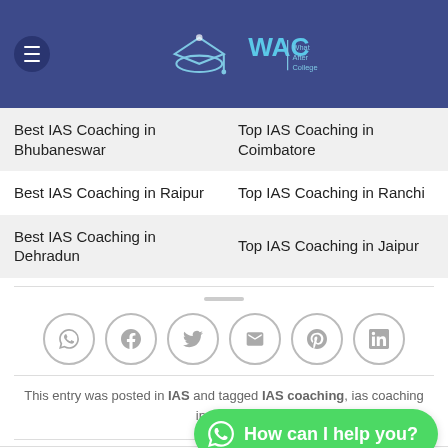WAC — What After College
| Best IAS Coaching in Bhubaneswar | Top IAS Coaching in Coimbatore |
| Best IAS Coaching in Raipur | Top IAS Coaching in Ranchi |
| Best IAS Coaching in Dehradun | Top IAS Coaching in Jaipur |
[Figure (infographic): Social sharing icons row: WhatsApp, Facebook, Twitter, Email, Pinterest, LinkedIn — all in grey circles]
This entry was posted in IAS and tagged IAS coaching, ias coaching in bhopal.
SIMRAN SAHITYA